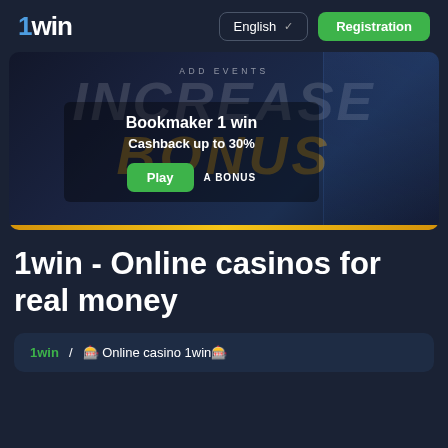1win | English | Registration
[Figure (screenshot): 1win casino promotional banner showing 'ADD EVENTS', 'INCREASE BONUS' text in large stylized letters, with overlay text 'Bookmaker 1 win', 'Cashback up to 30%', a green 'Play' button, and 'A BONUS' text. Dark background with gold/yellow and blue decorative elements.]
1win - Online casinos for real money
1win  /  🎰 Online casino 1win🎰